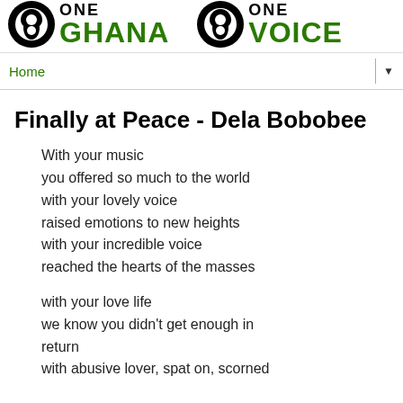[Figure (logo): One Ghana One Voice logo with Adinkra knot symbols, 'ONE GHANA' on left and 'ONE VOICE' on right in black and green]
Home ▼
Finally at Peace - Dela Bobobee
With your music
you offered so much to the world
with your lovely voice
raised emotions to new heights
with your incredible voice
reached the hearts of the masses

with your love life
we know you didn't get enough in return
with abusive lover, spat on, scorned